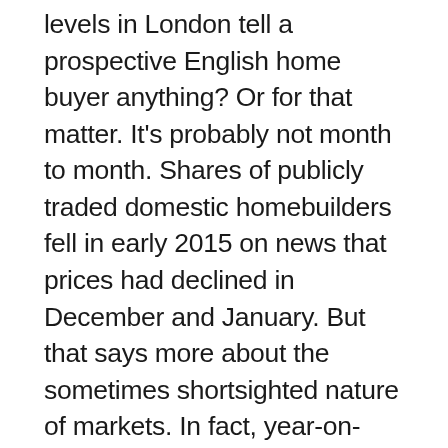levels in London tell a prospective English home buyer anything? Or for that matter. It's probably not month to month. Shares of publicly traded domestic homebuilders fell in early 2015 on news that prices had declined in December and January. But that says more about the sometimes shortsighted nature of markets. In fact, year-on-year prices in London increased at the end of 2014, and 2015 also shows evidence of rising prices. Stories of a bursting bubble are, for now, an exaggeration that land investors and home builders shouldn't use to build a business plan.
Home prices need to be considered more broadly across the UK, as London is an extreme case. Foreign buyers buying sky-high luxury properties in the capital city...